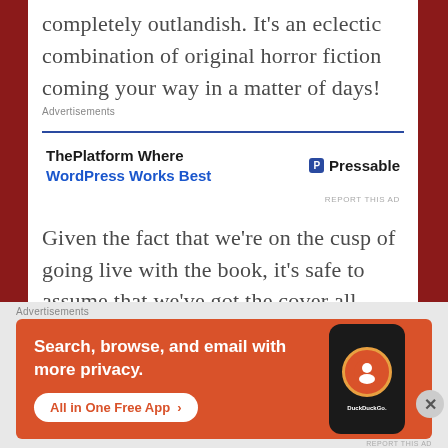completely outlandish. It's an eclectic combination of original horror fiction coming your way in a matter of days!
[Figure (screenshot): Advertisement banner for Pressable/WordPress hosting with text 'ThePlatform Where WordPress Works Best' and Pressable logo]
Given the fact that we're on the cusp of going live with the book, it's safe to assume that we've got the cover all wrapped up for you. Artist, Danny Melby did a fantastic job
[Figure (screenshot): DuckDuckGo advertisement banner with orange background. Text: 'Search, browse, and email with more privacy. All in One Free App'. Shows DuckDuckGo app logo on phone.]